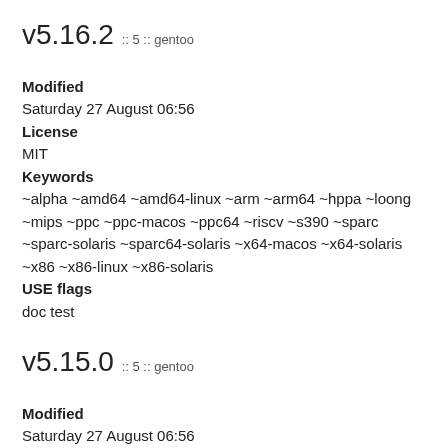v5.16.2 :: 5 :: gentoo
Modified
Saturday 27 August 06:56
License
MIT
Keywords
~alpha ~amd64 ~amd64-linux ~arm ~arm64 ~hppa ~loong ~mips ~ppc ~ppc-macos ~ppc64 ~riscv ~s390 ~sparc ~sparc-solaris ~sparc64-solaris ~x64-macos ~x64-solaris ~x86 ~x86-linux ~x86-solaris
USE flags
doc test
v5.15.0 :: 5 :: gentoo
Modified
Saturday 27 August 06:56
License
MIT
Keywords